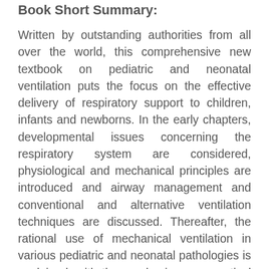Book Short Summary:
Written by outstanding authorities from all over the world, this comprehensive new textbook on pediatric and neonatal ventilation puts the focus on the effective delivery of respiratory support to children, infants and newborns. In the early chapters, developmental issues concerning the respiratory system are considered, physiological and mechanical principles are introduced and airway management and conventional and alternative ventilation techniques are discussed. Thereafter, the rational use of mechanical ventilation in various pediatric and neonatal pathologies is explained, with the emphasis on a practical step-by-step approach. Respiratory monitoring and safety issues in ventilated